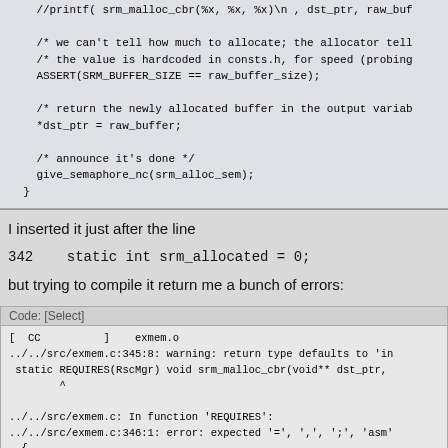[Figure (screenshot): Code block showing C source code snippet with comments about allocation, ASSERT, buffer return, and semaphore.]
I inserted it just after the line
342    static int srm_allocated = 0;
but trying to compile it return me a bunch of errors:
Code: [Select]
[Figure (screenshot): Compiler error output showing warnings and errors from exmem.c related to return type defaults, REQUIRES macro, and storage class issues.]